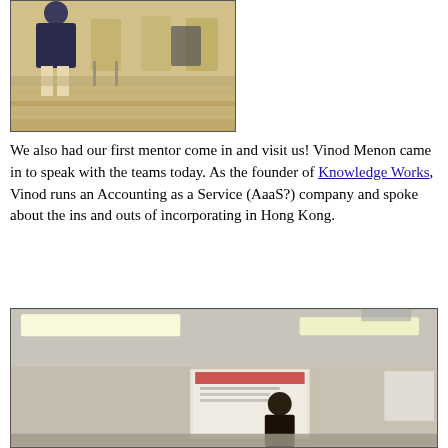[Figure (photo): Photo of people sitting in chairs in a room with wooden floor, taken at an event or workshop]
We also had our first mentor come in and visit us! Vinod Menon came in to speak with the teams today. As the founder of Knowledge Works, Vinod runs an Accounting as a Service (AaaS?) company and spoke about the ins and outs of incorporating in Hong Kong.
[Figure (photo): Photo of a presenter speaking in a room with fluorescent ceiling lights and a projection screen showing a presentation slide]